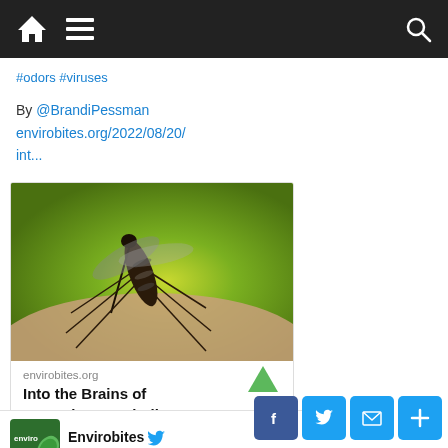Navigation bar with home, menu, and search icons
#odors #viruses
By @BrandiPessman envirobites.org/2022/08/20/int...
[Figure (photo): Close-up photo of a mosquito biting human skin, on a green background]
envirobites.org
Into the Brains of Mosquitoes – Finding out ...
♡ 4
Envirobites @... · Aug 8